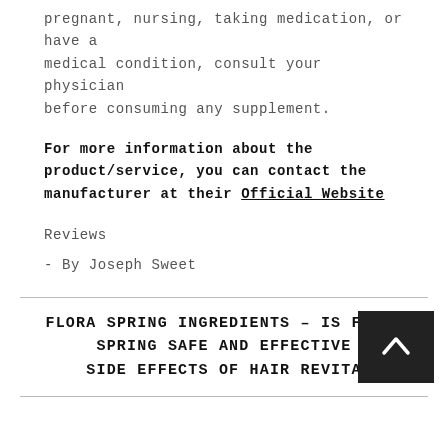pregnant, nursing, taking medication, or have a medical condition, consult your physician before consuming any supplement.
For more information about the product/service, you can contact the manufacturer at their Official Website
Reviews
- By Joseph Sweet
FLORA SPRING INGREDIENTS – IS FLORA SPRING SAFE AND EFFECTIVE SIDE EFFECTS OF HAIR REVITA